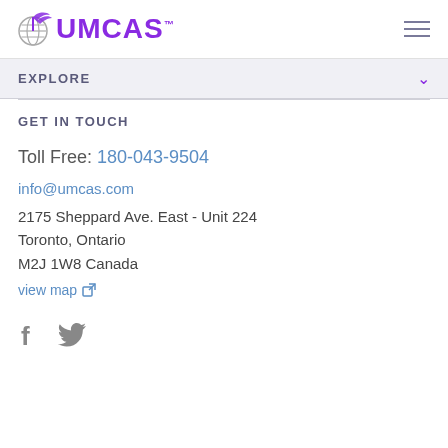[Figure (logo): UMCAS logo with globe and wing icon in purple]
EXPLORE
GET IN TOUCH
Toll Free: 180-043-9504
info@umcas.com
2175 Sheppard Ave. East - Unit 224
Toronto, Ontario
M2J 1W8 Canada
view map
[Figure (illustration): Social media icons: Facebook (f) and Twitter (bird) in grey]